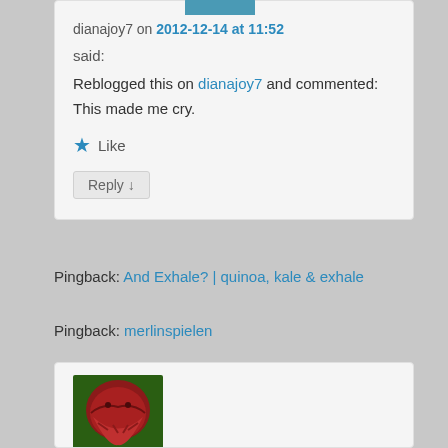dianajoy7 on 2012-12-14 at 11:52
said:
Reblogged this on dianajoy7 and commented:
This made me cry.
★ Like
Reply ↓
Pingback: And Exhale? | quinoa, kale & exhale
Pingback: merlinspielen
[Figure (photo): Red venus flytrap or carnivorous plant with open jaws on green background]